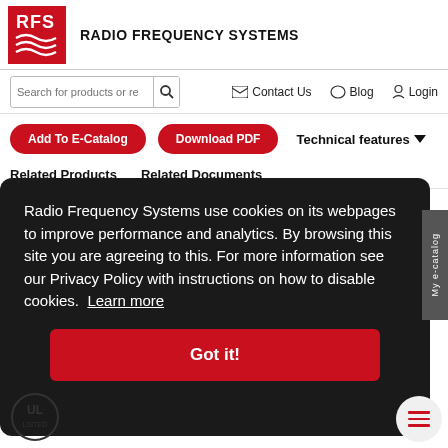[Figure (logo): RFS Radio Frequency Systems red logo with white wave lines]
RADIO FREQUENCY SYSTEMS
[Figure (screenshot): Search bar with magnifying glass icon]
Contact Us   Blog   Login
Add To E-Catalog   Download PDF   Technical features
Related Products   Related Documents
Radio Frequency Systems use cookies on its webpages to improve performance and analytics. By browsing this site you are agreeing to this. For more information see our Privacy Policy with instructions on how to disable cookies. Learn more
Got it!
[Figure (logo): UL Listed logo mark at bottom left]